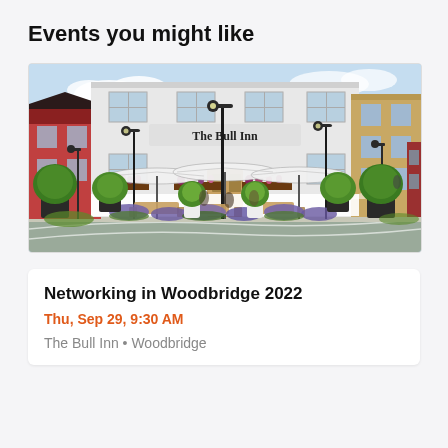Events you might like
[Figure (photo): Exterior rendering of The Bull Inn pub/restaurant showing outdoor seating area with white umbrellas, lavender plants, topiary trees, lamp posts, and the building facade with signage reading 'The Bull Inn']
Networking in Woodbridge 2022
Thu, Sep 29, 9:30 AM
The Bull Inn • Woodbridge